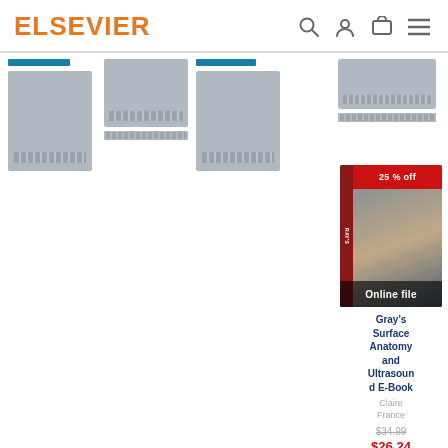ELSEVIER
[Figure (screenshot): Elsevier website product listing page showing book cards with skeleton placeholders and one visible product: Gray's Surface Anatomy and Ultrasound E-Book]
Gray's Surface Anatomy and Ultrasound E-Book
Claire France
$34.99
$26.24
25 % off
Online file